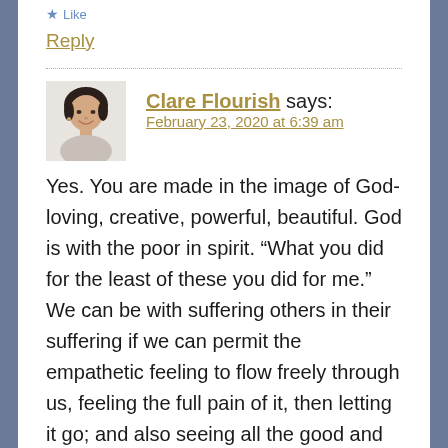Like
Reply
Clare Flourish says:
February 23, 2020 at 6:39 am
[Figure (photo): Avatar photo of Clare Flourish, a woman with short dark hair, smiling, wearing a light-colored top]
Yes. You are made in the image of God-loving, creative, powerful, beautiful. God is with the poor in spirit. “What you did for the least of these you did for me.” We can be with suffering others in their suffering if we can permit the empathetic feeling to flow freely through us, feeling the full pain of it, then letting it go; and also seeing all the good and all the possibility so that we